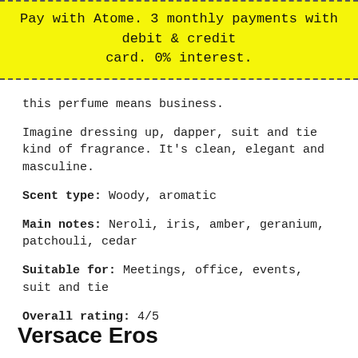Pay with Atome. 3 monthly payments with debit & credit card. 0% interest.
this perfume means business.
Imagine dressing up, dapper, suit and tie kind of fragrance. It's clean, elegant and masculine.
Scent type: Woody, aromatic
Main notes: Neroli, iris, amber, geranium, patchouli, cedar
Suitable for: Meetings, office, events, suit and tie
Overall rating: 4/5
Versace Eros